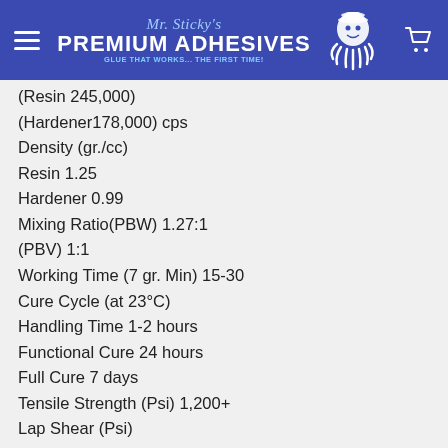Mr. Sticky's PREMIUM ADHESIVES GLUE THAT WORKS... THE FIRST TIME!
(Resin 245,000)
(Hardener 178,000) cps
Density (gr./cc)
Resin 1.25
Hardener 0.99
Mixing Ratio (PBW) 1.27:1
(PBV) 1:1
Working Time (7 gr. Min) 15-30
Cure Cycle (at 23°C)
Handling Time 1-2 hours
Functional Cure 24 hours
Full Cure 7 days
Tensile Strength (Psi) 1,200+
Lap Shear (Psi)
ABS 800+
Abraded ABS 800+
Acrylic 150...